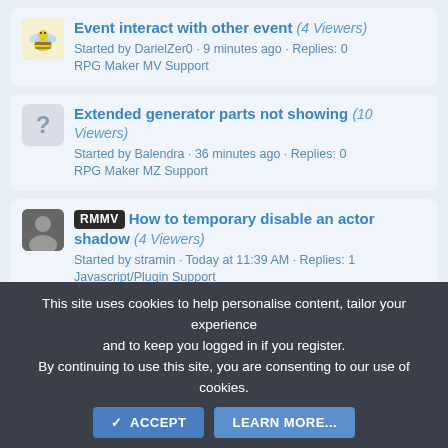Event interact with other event (4 Viewers) Started by DarielZer0 · 9 minutes ago · Replies: 0 RPG Maker MV Support
Extended generator parts not showing (10 Viewers) Started by Balendra · 36 minutes ago · Replies: 0 RPG Maker MZ Support
RMMV How to temporary disable an actor shadow (4 Viewers) Started by stramin · Today at 11:39 AM · Replies: 1 Javascript/Plugin Support
Latest Posts
This site uses cookies to help personalise content, tailor your experience and to keep you logged in if you register. By continuing to use this site, you are consenting to our use of cookies.
✓ ACCEPT   LEARN MORE...